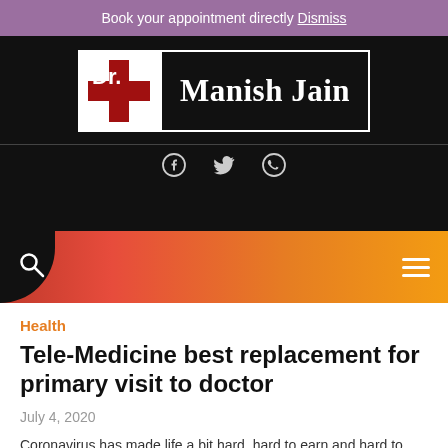Book your appointment directly Dismiss
[Figure (logo): Dr. Manish Jain website logo with red cross and white background, black background with white border text]
[Figure (infographic): Social media icons: Facebook, Twitter, WhatsApp in grey on black background]
[Figure (infographic): Navigation bar with red to orange gradient, search icon on left, hamburger menu on right]
Health
Tele-Medicine best replacement for primary visit to doctor
July 4, 2020
Coronavirus has made life a bit hard, hard to earn and hard to